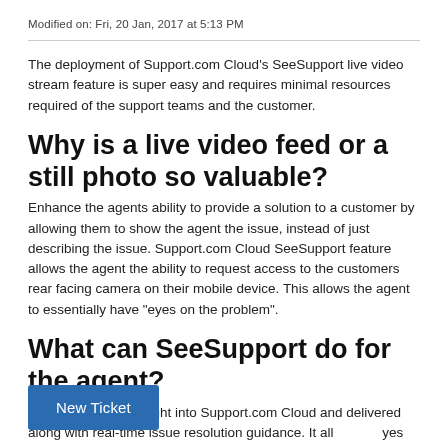Modified on: Fri, 20 Jan, 2017 at 5:13 PM
The deployment of Support.com Cloud's SeeSupport live video stream feature is super easy and requires minimal resources required of the support teams and the customer.
Why is a live video feed or a still photo so valuable?
Enhance the agents ability to provide a solution to a customer by allowing them to show the agent the issue, instead of just describing the issue. Support.com Cloud SeeSupport feature allows the agent the ability to request access to the customers rear facing camera on their mobile device. This allows the agent to essentially have "eyes on the problem".
What can SeeSupport do for the agent?
SeeSupport is built right into Support.com Cloud and delivered along with real-time issue resolution guidance. It all [New Ticket] yes on the problem" with little effort on the [          ] ples of how SeeSupport could be used